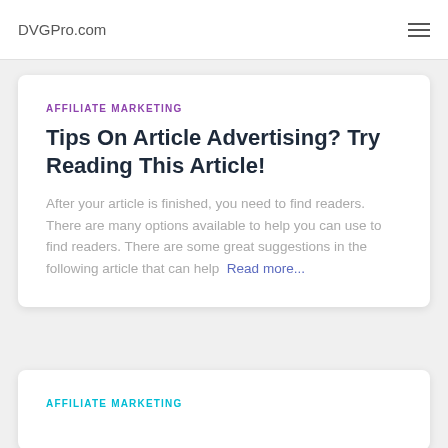DVGPro.com
AFFILIATE MARKETING
Tips On Article Advertising? Try Reading This Article!
After your article is finished, you need to find readers. There are many options available to help you can use to find readers. There are some great suggestions in the following article that can help  Read more...
AFFILIATE MARKETING